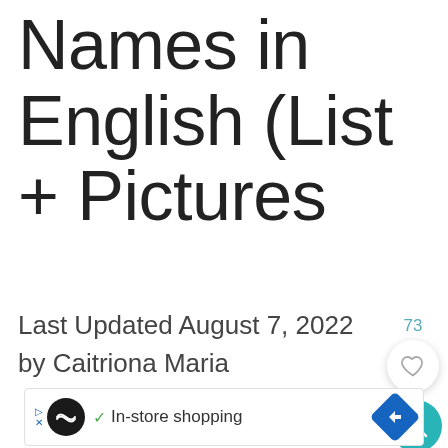Names in English (List + Pictures
Last Updated August 7, 2022 by Caitriona Maria
[Figure (other): Advertisement banner with shopping icon and 'In-store shopping' text]
[Figure (other): Like/favorite button with count 73]
[Figure (other): Search button (teal circle with magnifier icon)]